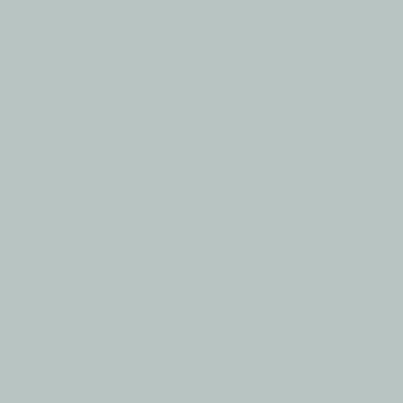ice during the satellite record, the exit from the grand solar ice.
Current trends do not indicate the post 2002 levelling of global sulphate aerosols, and solar. The models did not get this w around the trend (~0.17degC for those factors and find the period of levelling of GW has loss has accelerated, area/ex reasonable expectation of a d
CO2 forcing is logarithmc, bu decades) approximates to lin last several decades is appro
Theories are not speculative, time. Back in the late 1990s as due to cycles, there is now view. The regression of CO2 valid ultimate cause, the fact for natural forcings, but loss o shows that the ice is being lo